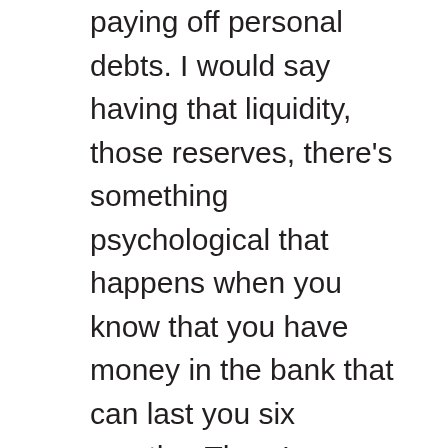paying off personal debts. I would say having that liquidity, those reserves, there's something psychological that happens when you know that you have money in the bank that can last you six months. There's something that happens that triggers something and creates a level of safety and certainty that allows you to operate a little bit differently. You then essentially go through what to invest in and what type of assets.
There are two things I'm going to bring up. I've been working on ways in which we can do some online technology applications that are more self-assessment in nature. I'd love your help. One of them is specific to what I'm talking